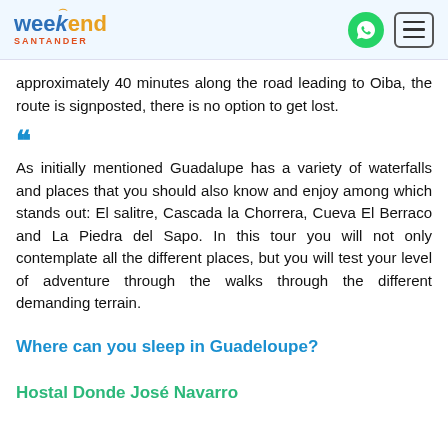weekend SANTANDER
approximately 40 minutes along the road leading to Oiba, the route is signposted, there is no option to get lost.
As initially mentioned Guadalupe has a variety of waterfalls and places that you should also know and enjoy among which stands out: El salitre, Cascada la Chorrera, Cueva El Berraco and La Piedra del Sapo. In this tour you will not only contemplate all the different places, but you will test your level of adventure through the walks through the different demanding terrain.
Where can you sleep in Guadeloupe?
Hostal Donde José Navarro